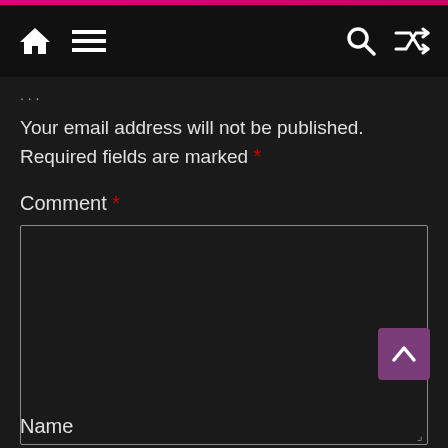Navigation bar with home, menu, search, and shuffle icons
Your email address will not be published. Required fields are marked *
Comment *
[Figure (screenshot): Empty comment text area input field with light gray border on dark background]
Name